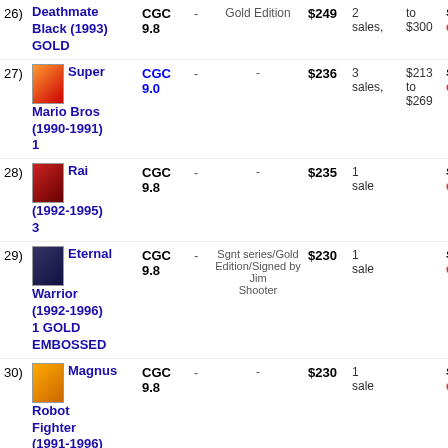26) Deathmate Black (1993) GOLD | CGC 9.8 | Gold Edition | $249 | 2 sales, to $300 | search ebay
27) Super Mario Bros (1990-1991) 1 | CGC 9.0 | - | $236 | 3 sales, $213 to $269 | search ebay
28) Rai (1992-1995) 3 | CGC 9.8 | - | $235 | 1 sale | search ebay
29) Eternal Warrior (1992-1996) 1 GOLD EMBOSSED | CGC 9.8 | Sgnt series/Gold Edition/Signed by Jim Shooter | $230 | 1 sale | search ebay
30) Magnus Robot Fighter (1991-1996) 12 | CGC 9.8 | - | $230 | 1 sale | search ebay
31) Super Mario Bros (1990-1991) | CGC 8.5 | - | $220 | 3 sales, $194 to $240 | search ebay